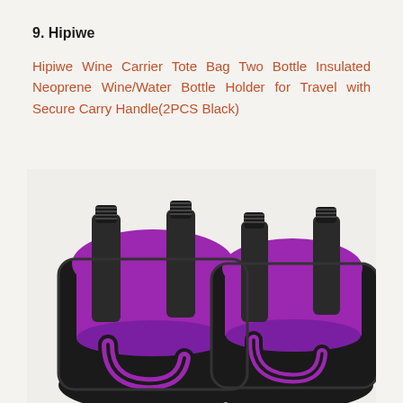9. Hipiwe
Hipiwe Wine Carrier Tote Bag Two Bottle Insulated Neoprene Wine/Water Bottle Holder for Travel with Secure Carry Handle(2PCS Black)
[Figure (photo): Two black and purple neoprene wine carrier tote bags, each holding two wine bottles with black screw caps. The interior lining is bright purple. The bags have black handles curled in front.]